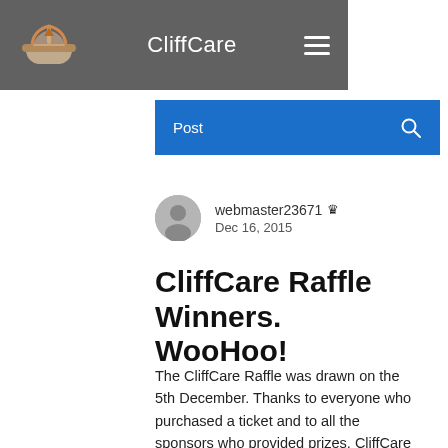CliffCare
Post
webmaster23671  Dec 16, 2015
CliffCare Raffle Winners. WooHoo!
The CliffCare Raffle was drawn on the 5th December. Thanks to everyone who purchased a ticket and to all the sponsors who provided prizes. CliffCare couldn't continue without all of your support. Below are the list of prize